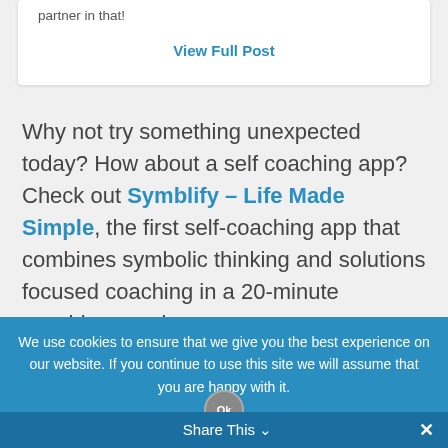partner in that!
View Full Post
Why not try something unexpected today? How about a self coaching app? Check out Symblify – Life Made Simple, the first self-coaching app that combines symbolic thinking and solutions focused coaching in a 20-minute coaching session >>>
We use cookies to ensure that we give you the best experience on our website. If you continue to use this site we will assume that you are happy with it.
Share This